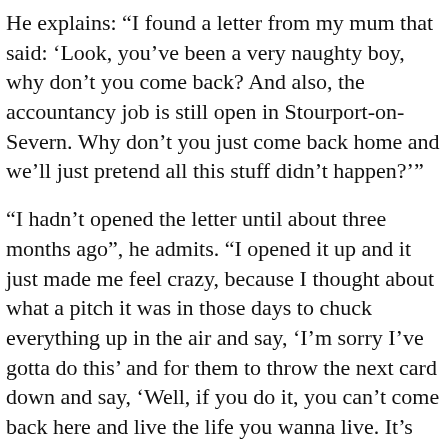He explains: “I found a letter from my mum that said: ‘Look, you’ve been a very naughty boy, why don’t you come back? And also, the accountancy job is still open in Stourport-on-Severn. Why don’t you just come back home and we’ll just pretend all this stuff didn’t happen?’”
“I hadn’t opened the letter until about three months ago”, he admits. “I opened it up and it just made me feel crazy, because I thought about what a pitch it was in those days to chuck everything up in the air and say, ‘I’m sorry I’ve gotta do this’ and for them to throw the next card down and say, ‘Well, if you do it, you can’t come back here and live the life you wanna live. It’s academia or you’re out’. So I went”.
As for what sort of unreleased music can be found in the archive, he says: “I did some stuff with a guy call Robert Crash, who was a German guy who had a group